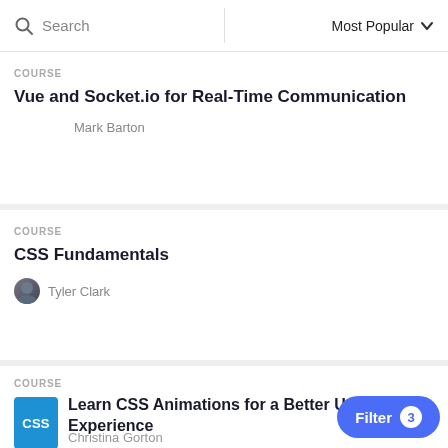Search | Most Popular
COURSE
Vue and Socket.io for Real-Time Communication
Mark Barton
COURSE
CSS Fundamentals
Tyler Clark
COURSE
Learn CSS Animations for a Better Experience
Christina Gorton
Filter 3